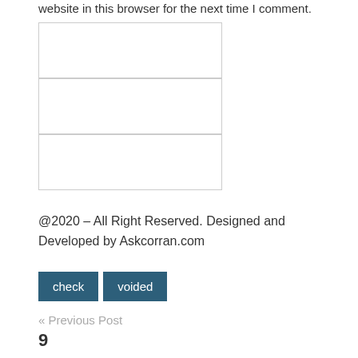website in this browser for the next time I comment.
[Figure (other): Three stacked empty form input boxes with light gray borders]
@2020 – All Right Reserved. Designed and Developed by Askcorran.com
check   voided
« Previous Post
9